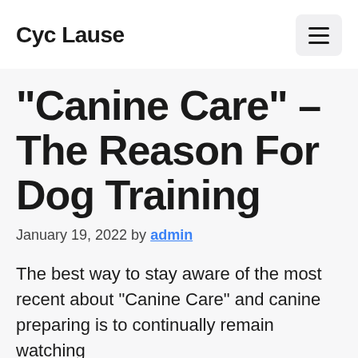Cyc Lause
“Canine Care” – The Reason For Dog Training
January 19, 2022 by admin
The best way to stay aware of the most recent about “Canine Care” and canine preparing is to continually remain watching